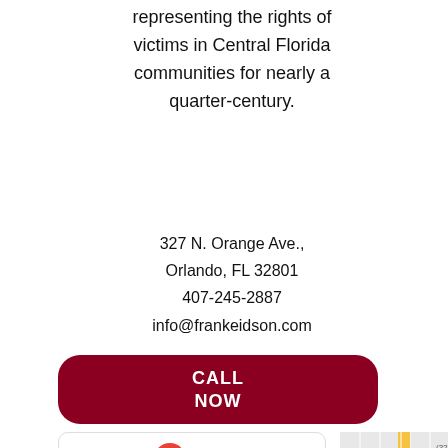representing the rights of victims in Central Florida communities for nearly a quarter-century.
327 N. Orange Ave., Orlando, FL 32801
407-245-2887
info@frankeidson.com
CALL NOW
[Figure (infographic): Google review card showing 4.9 rating, three gold stars, and 187 reviews]
[Figure (map): Partial street map snippet showing location near 327 N. Orange Ave]